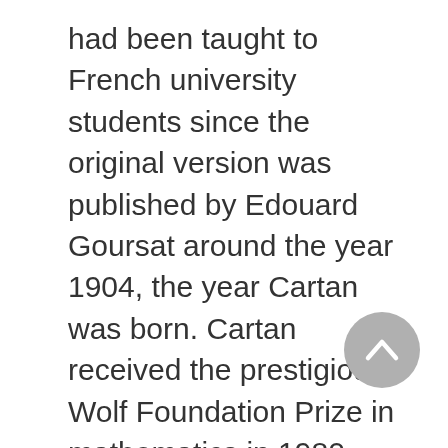had been taught to French university students since the original version was published by Edouard Goursat around the year 1904, the year Cartan was born. Cartan received the prestigious Wolf Foundation Prize in mathematics in 1980. Most of his books appeared only in French, but some were translated, including Homological Algebra (1956), Elementary Theory of Analytic Functions of One or Several Complex Variables (1963), and Differential Forms (1971). The